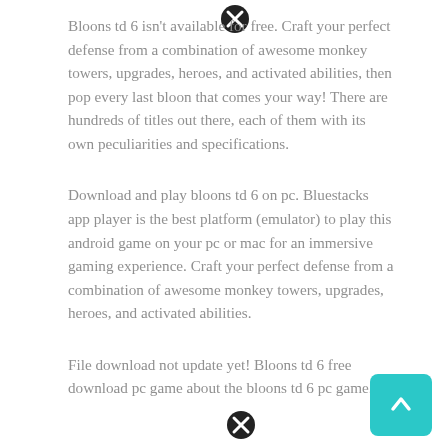Bloons td 6 isn't available for free. Craft your perfect defense from a combination of awesome monkey towers, upgrades, heroes, and activated abilities, then pop every last bloon that comes your way! There are hundreds of titles out there, each of them with its own peculiarities and specifications.
Download and play bloons td 6 on pc. Bluestacks app player is the best platform (emulator) to play this android game on your pc or mac for an immersive gaming experience. Craft your perfect defense from a combination of awesome monkey towers, upgrades, heroes, and activated abilities.
File download not update yet! Bloons td 6 free download pc game about the bloons td 6 pc game.